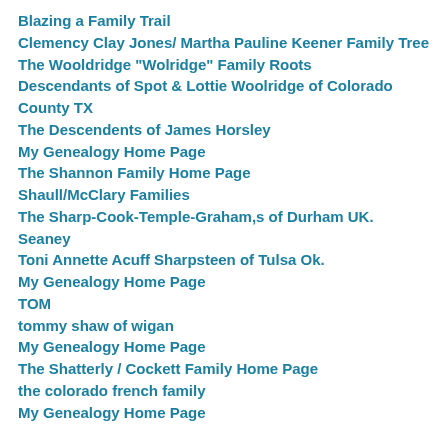Blazing a Family Trail
Clemency Clay Jones/ Martha Pauline Keener Family Tree
The Wooldridge "Wolridge" Family Roots
Descendants of Spot & Lottie Woolridge of Colorado County TX
The Descendents of James Horsley
My Genealogy Home Page
The Shannon Family Home Page
Shaull/McClary Families
The Sharp-Cook-Temple-Graham,s of Durham UK.
Seaney
Toni Annette Acuff Sharpsteen of Tulsa Ok.
My Genealogy Home Page
TOM
tommy shaw of wigan
My Genealogy Home Page
The Shatterly / Cockett Family Home Page
the colorado french family
My Genealogy Home Page